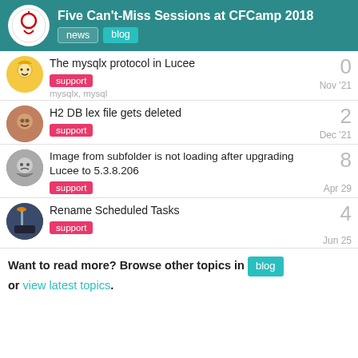Five Can't-Miss Sessions at CFCamp 2018
The mysqlx protocol in Lucee — support — mysqlx, mysql — Nov '21 — 0
H2 DB lex file gets deleted — support — Dec '21 — 2
Image from subfolder is not loading after upgrading Lucee to 5.3.8.206 — support — Apr 29 — 8
Rename Scheduled Tasks — support — Jun 25 — 4
Want to read more? Browse other topics in blog or view latest topics.